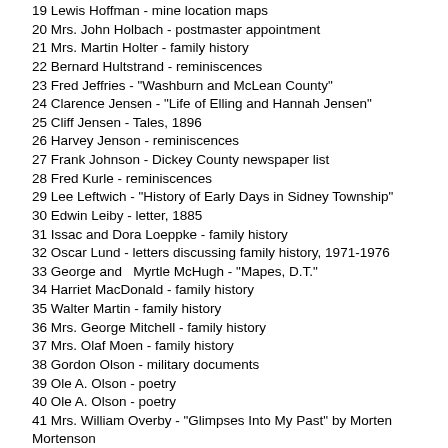19 Lewis Hoffman - mine location maps
20 Mrs. John Holbach - postmaster appointment
21 Mrs. Martin Holter - family history
22 Bernard Hultstrand - reminiscences
23 Fred Jeffries - "Washburn and McLean County"
24 Clarence Jensen - "Life of Elling and Hannah Jensen"
25 Cliff Jensen - Tales, 1896
26 Harvey Jenson - reminiscences
27 Frank Johnson - Dickey County newspaper list
28 Fred Kurle - reminiscences
29 Lee Leftwich - "History of Early Days in Sidney Township"
30 Edwin Leiby - letter, 1885
31 Issac and Dora Loeppke - family history
32 Oscar Lund - letters discussing family history, 1971-1976
33 George and  Myrtle McHugh - "Mapes, D.T."
34 Harriet MacDonald - family history
35 Walter Martin - family history
36 Mrs. George Mitchell - family history
37 Mrs. Olaf Moen - family history
38 Gordon Olson - military documents
39 Ole A. Olson - poetry
40 Ole A. Olson - poetry
41 Mrs. William Overby - "Glimpses Into My Past" by Morten Mortenson
42 Mr. and Mrs. George Overn - periodical clipping
43 M. G. and Ida Pederson - autobiography, "History of Baldwin Township"
44 Kathryn J. Peters - song sheet "Our Hilltop Home"
45 Mr. and Mrs. Ralph Pierson - family history
46 Mary Pittsley - "Western North Dakota An Introduction to a Far County" b Korfmacher
47 S. Anne Preszler - "St. Mary's Catholic Church"